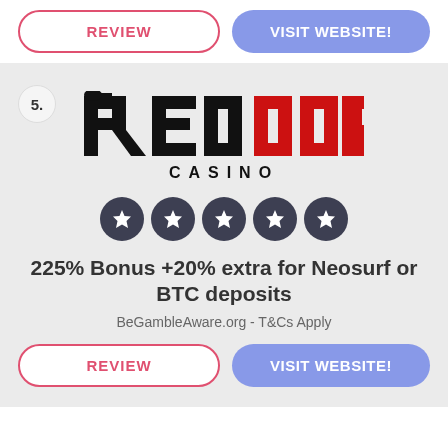REVIEW
VISIT WEBSITE!
5.
[Figure (logo): Red Dog Casino logo - black and red text reading REDDOG with a dog silhouette, CASINO text below]
[Figure (other): 5 dark circular star rating icons]
225% Bonus +20% extra for Neosurf or BTC deposits
BeGambleAware.org - T&Cs Apply
REVIEW
VISIT WEBSITE!